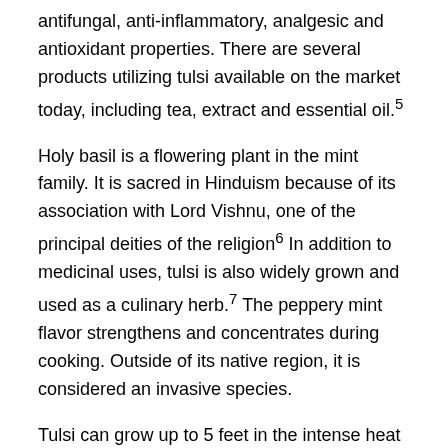antifungal, anti-inflammatory, analgesic and antioxidant properties. There are several products utilizing tulsi available on the market today, including tea, extract and essential oil.⁵
Holy basil is a flowering plant in the mint family. It is sacred in Hinduism because of its association with Lord Vishnu, one of the principal deities of the religion⁶ In addition to medicinal uses, tulsi is also widely grown and used as a culinary herb.⁷ The peppery mint flavor strengthens and concentrates during cooking. Outside of its native region, it is considered an invasive species.
Tulsi can grow up to 5 feet in the intense heat of India but normally reaches up to only 2 feet in more temperate areas.⁸ It is a short-lived perennial shrub or annual plant depending on the region. By comparison, sweet basil is a popular culinary herb that grows in many areas and can be cultivated indoors.